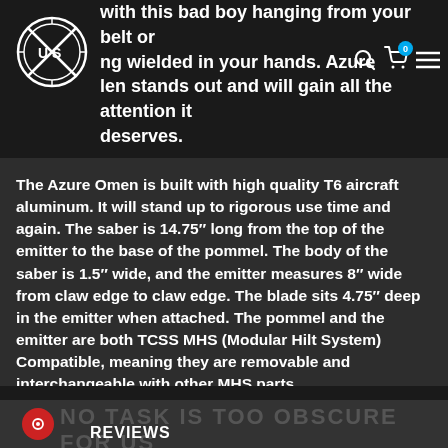with this bad boy hanging from your belt or being wielded in your hands. The Azure Omen stands out and will gain all the attention it deserves.
The Azure Omen is built with high quality T6 aircraft aluminum. It will stand up to rigorous use time and again. The saber is 14.75″ long from the top of the emitter to the base of the pommel. The body of the saber is 1.5″ wide, and the emitter measures 8″ wide from claw edge to claw edge. The blade sits 4.75″ deep in the emitter when attached. The pommel and the emitter are both TCSS MHS (Modular Hilt System) Compatible, meaning they are removable and interchangeable with other MHS parts.
REVIEWS